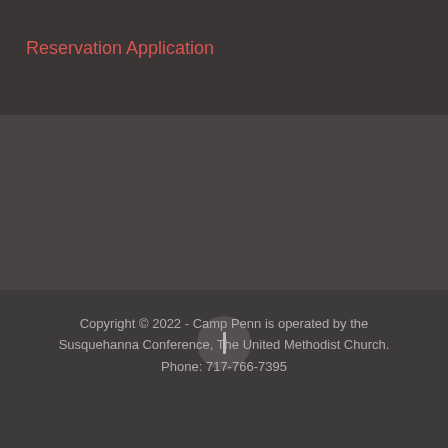Reservation Application
[Figure (other): Dark circular icon button with a vertical bar symbol in the center]
Copyright © 2022 - Camp Penn is operated by the Susquehanna Conference, The United Methodist Church. Phone: 717-766-7395